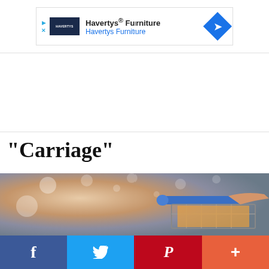[Figure (screenshot): Havertys Furniture advertisement banner with logo, text 'Havertys® Furniture / Havertys Furniture', and blue arrow icon on the right]
“Carriage”
[Figure (photo): Blurred photo of a person pushing a shopping cart in a retail store with bokeh lights in the background]
[Figure (infographic): Social sharing bar with Facebook (blue), Twitter (light blue), Pinterest (red), and More/Plus (orange-red) buttons]